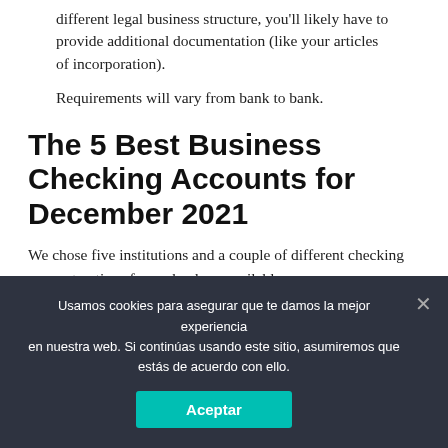different legal business structure, you'll likely have to provide additional documentation (like your articles of incorporation).
Requirements will vary from bank to bank.
The 5 Best Business Checking Accounts for December 2021
We chose five institutions and a couple of different checking account options for each where available.
Chase
Best for 24/7 Customer Service and Overdraft...
Usamos cookies para asegurar que te damos la mejor experiencia en nuestra web. Si continúas usando este sitio, asumiremos que estás de acuerdo con ello.